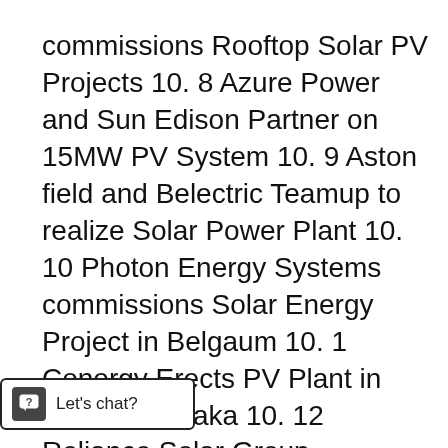commissions Rooftop Solar PV Projects 10. 8 Azure Power and Sun Edison Partner on 15MW PV System 10. 9 Aston field and Belectric Teamup to realize Solar Power Plant 10. 10 Photon Energy Systems commissions Solar Energy Project in Belgaum 10. 1 Conergy Erects PV Plant in Itnal, Karnataka 10. 12 Reliance Solar Group commissions project for Common Wealth Games 11. Growth Drivers and Inhibitors for Solar Energy 12. Profile of Key Players in Indian Solar Energy Sector 12. 1 Moser Baer Photovoltaic Limited 12. 1. 1 Company Prolife 12. 1. 2 Business Strategy 12. 1. 2. 1 Product Level 12. 1. 2. 2 Service Level 12. 1. s 12. 1. 3 SWOT Analysis 12. 1. 4 2. 2 Tata BP Solar 12. 2. 1 Company Profile 12. 2. 2 Financial